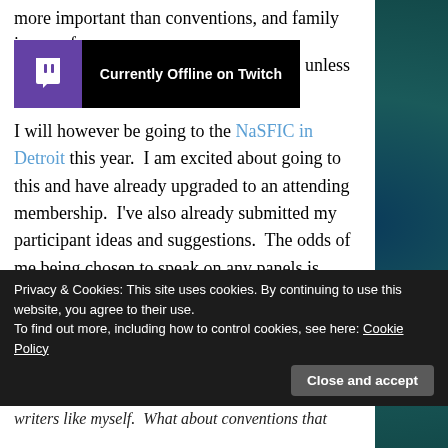more important than conventions, and family is one of
[Figure (screenshot): Twitch offline banner: purple Twitch logo on left, black background with 'Currently Offline on Twitch' text on right]
unless
I will however be going to the NaSFIC in Detroit this year.  I am excited about going to this and have already upgraded to an attending membership.  I've also already submitted my participant ideas and suggestions.  The odds of me being chosen to speak on any panels is probably slim, but I wanted to try.  As many of my regular blog followers know, I have no problem sharing my opinion and giving tips and tricks that I learned along the way.
Privacy & Cookies: This site uses cookies. By continuing to use this website, you agree to their use.
To find out more, including how to control cookies, see here: Cookie Policy
Close and accept
writers like myself.  What about conventions that